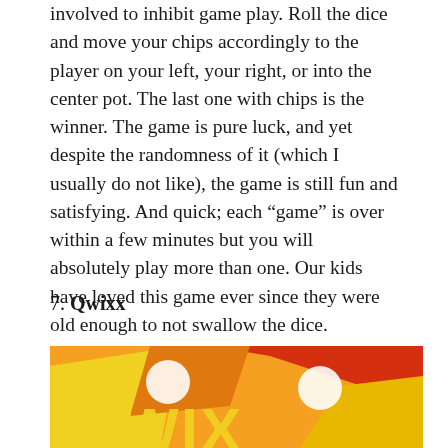involved to inhibit game play. Roll the dice and move your chips accordingly to the player on your left, your right, or into the center pot. The last one with chips is the winner. The game is pure luck, and yet despite the randomness of it (which I usually do not like), the game is still fun and satisfying. And quick; each “game” is over within a few minutes but you will absolutely play more than one. Our kids have loved this game ever since they were old enough to not swallow the dice.
7. Qwixx
[Figure (photo): Bottom portion of the Qwixx board game box, showing bright orange, yellow, and red graphic design with white dice shapes and partial yellow Qwixx logo text at the bottom.]